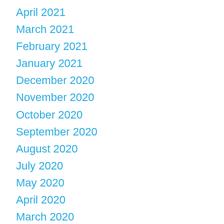April 2021
March 2021
February 2021
January 2021
December 2020
November 2020
October 2020
September 2020
August 2020
July 2020
May 2020
April 2020
March 2020
February 2020